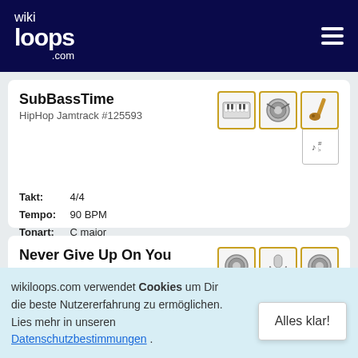wikiloops.com
SubBassTime
HipHop Jamtrack #125593
Takt: 4/4
Tempo: 90 BPM
Tonart: C major
Never Give Up On You
HipHop Jamtrack #47919
wikiloops.com verwendet Cookies um Dir die beste Nutzererfahrung zu ermöglichen. Lies mehr in unseren Datenschutzbestimmungen .